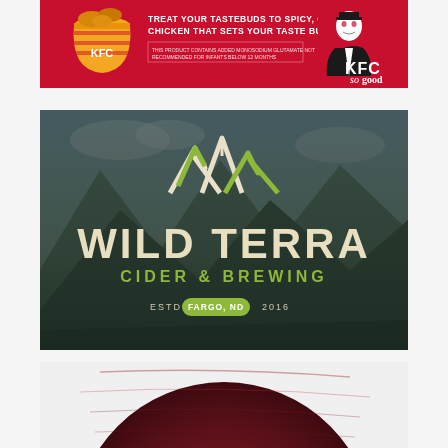[Figure (photo): KFC advertisement banner with red background, KFC bucket on left, text 'TREAT YOUR TASTEBUDS TO SPICY, CRUNCHY, JUICY CHICKEN THAT SETS YOUR TASTE BUDS ALIGHT.' and small disclaimer text, KFC logo and 'so good' branding on right]
[Figure (logo): Wild Terra Cider & Brewing logo on mountain landscape background. Features zigzag mountain/lightning bolt logo mark in green and cream, large stylized text 'WILD TERRA' in cream/white, subtitle 'CIDER & BREWING' in green, and 'ESTD FARGO, ND 2016' at the bottom with Fargo ND in a green pill/badge shape]
[Figure (photo): Partially visible circular disc or plate with dark red/maroon metallic surface, showing the top portion cropped at the bottom of the page]